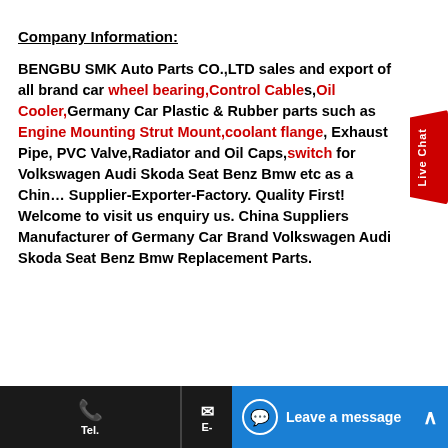Company Information:
BENGBU SMK Auto Parts CO.,LTD sales and export of all brand car wheel bearing,Control Cables,Oil Cooler,Germany Car Plastic & Rubber parts such as Engine Mounting Strut Mount,coolant flange, Exhaust Pipe, PVC Valve,Radiator and Oil Caps,switch for Volkswagen Audi Skoda Seat Benz Bmw etc as a China Supplier-Exporter-Factory. Quality First! Welcome to visit us enquiry us. China Suppliers Manufacturer of Germany Car Brand Volkswagen Audi Skoda Seat Benz Bmw Replacement Parts.
Tel.  E-  Leave a message